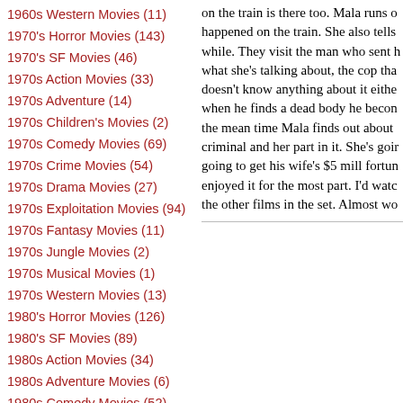1960s Western Movies (11)
1970's Horror Movies (143)
1970's SF Movies (46)
1970s Action Movies (33)
1970s Adventure (14)
1970s Children's Movies (2)
1970s Comedy Movies (69)
1970s Crime Movies (54)
1970s Drama Movies (27)
1970s Exploitation Movies (94)
1970s Fantasy Movies (11)
1970s Jungle Movies (2)
1970s Musical Movies (1)
1970s Western Movies (13)
1980's Horror Movies (126)
1980's SF Movies (89)
1980s Action Movies (34)
1980s Adventure Movies (6)
1980s Comedy Movies (52)
1980s Crime Movies (26)
1980s Drama Movies (2)
1980s Exploitation Movies (46)
on the train is there too. Mala runs o... happened on the train. She also tells... while. They visit the man who sent h... what she's talking about, the cop tha... doesn't know anything about it eithe... when he finds a dead body he becon... the mean time Mala finds out about... criminal and her part in it. She's goir... going to get his wife's $5 mill fortun... enjoyed it for the most part. I'd watc... the other films in the set. Almost wo...